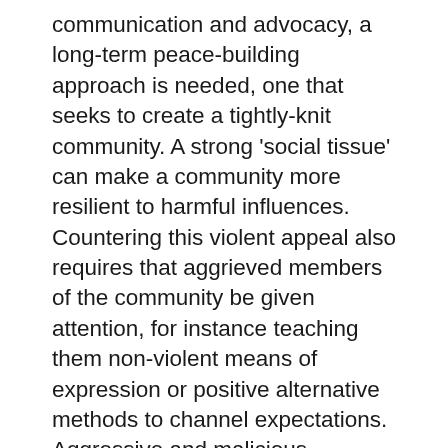communication and advocacy, a long-term peace-building approach is needed, one that seeks to create a tightly-knit community. A strong 'social tissue' can make a community more resilient to harmful influences. Countering this violent appeal also requires that aggrieved members of the community be given attention, for instance teaching them non-violent means of expression or positive alternative methods to channel expectations. Aggressive and malicious stresses on a resilient community may thus weaken its social tissue, but not irreparably damage it, allowing the community to bounce back.
Within this context, considerable efforts are being made by the international community and local actors in affected communities to better define the threat of violent extremism